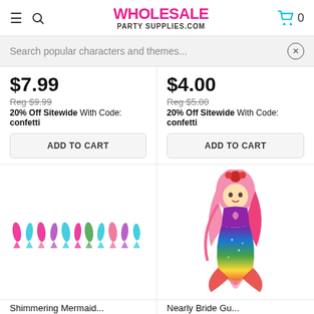WHOLESALE PARTY SUPPLIES.COM
Search popular characters and themes...
$7.99 Reg $9.99 20% Off Sitewide With Code: confetti
$4.00 Reg $5.00 20% Off Sitewide With Code: confetti
ADD TO CART
ADD TO CART
[Figure (photo): Shimmer mermaid garland/banner product with colorful fish/mermaid tail shapes]
[Figure (photo): Rainbow mermaid plush doll with pink hair and sparkly tail]
Shimmering Mermaid...
Nearly Bride Gu...